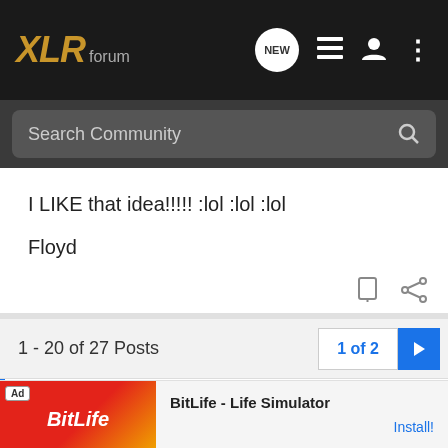XLR forum
Search Community
I LIKE that idea!!!!! :lol :lol :lol
Floyd
1 - 20 of 27 Posts  1 of 2
This is an older thread, you may not receive a response, and could be reviving an old thread. Please consider creating a new thread.
BitLife - Life Simulator  Install!